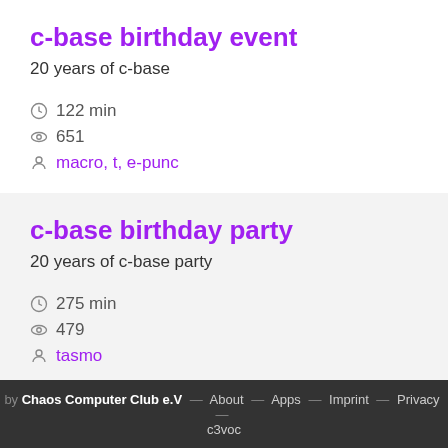c-base birthday event
20 years of c-base
122 min
651
macro, t, e-punc
c-base birthday party
20 years of c-base party
275 min
479
tasmo
by Chaos Computer Club e.V — About — Apps — Imprint — Privacy — c3voc